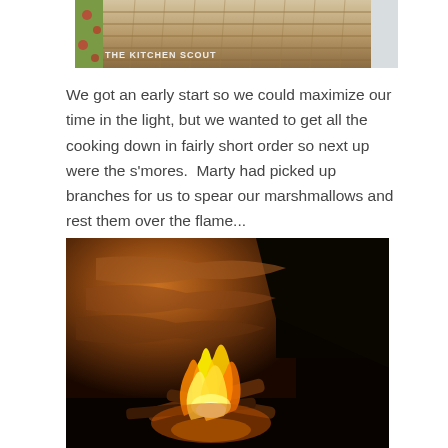[Figure (photo): Top portion of a wicker/straw basket on a floral fabric background, with a watermark reading THE KITCHEN SCOUT]
We got an early start so we could maximize our time in the light, but we wanted to get all the cooking down in fairly short order so next up were the s'mores.  Marty had picked up branches for us to spear our marshmallows and rest them over the flame...
[Figure (photo): Campfire burning brightly at night with orange and yellow flames, surrounded by rocks and logs in a dark outdoor setting]